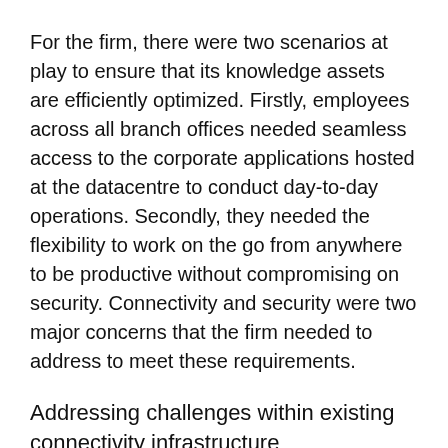For the firm, there were two scenarios at play to ensure that its knowledge assets are efficiently optimized. Firstly, employees across all branch offices needed seamless access to the corporate applications hosted at the datacentre to conduct day-to-day operations. Secondly, they needed the flexibility to work on the go from anywhere to be productive without compromising on security. Connectivity and security were two major concerns that the firm needed to address to meet these requirements.
Addressing challenges within existing connectivity infrastructure
According to Shams Khan, Head - IT Infrastructure & Information Security, Shardul Amarchand Mangaldas & Co, the challenge on the connectivity